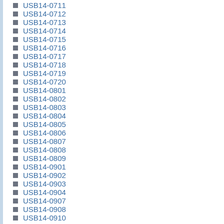USB14-0711
USB14-0712
USB14-0713
USB14-0714
USB14-0715
USB14-0716
USB14-0717
USB14-0718
USB14-0719
USB14-0720
USB14-0801
USB14-0802
USB14-0803
USB14-0804
USB14-0805
USB14-0806
USB14-0807
USB14-0808
USB14-0809
USB14-0901
USB14-0902
USB14-0903
USB14-0904
USB14-0907
USB14-0908
USB14-0910
USB14-0911